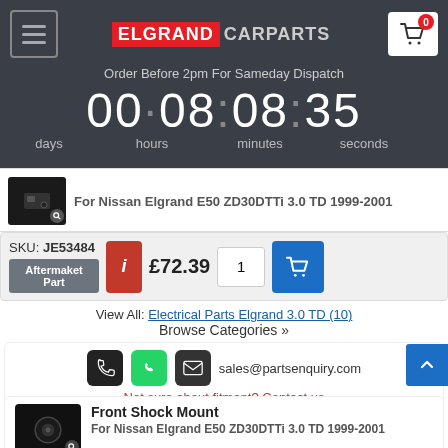ELGRAND CARPARTS
Order Before 2pm For Sameday Dispatch
00 · 08 : 08 : 35 days hours minutes seconds
[Figure (screenshot): Product thumbnail image for a car part]
For Nissan Elgrand E50 ZD30DTTi 3.0 TD 1999-2001
SKU: JE53484 Aftermarket Part £72.39 1
View All: Electrical Parts Elgrand 3.0 TD (10)
Browse Categories »
sales@partsenquiry.com
Not sure about fitment? Contact us
Front Shock Mount
For Nissan Elgrand E50 ZD30DTTi 3.0 TD 1999-2001